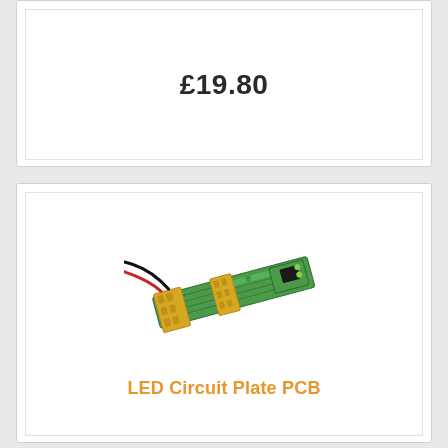£19.80
[Figure (photo): LED Circuit Plate PCB product image showing a green PCB board with yellow connectors and a red/black wire with white connector]
LED Circuit Plate PCB